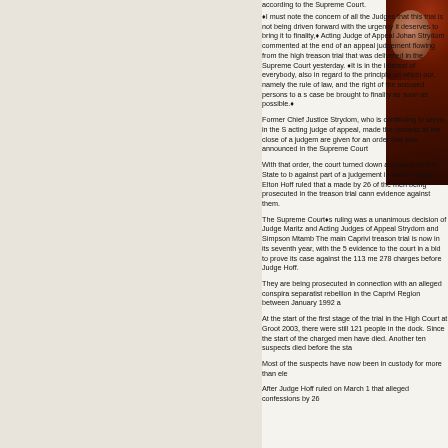according to the Supreme Court.
�I must note the concern of all the Judges that this trial is not being driven forward with the urgency it deserves to bring it to finality,� Acting Judge of Appeal Johan Strydom commented at the end of an appeal judgement flowing from the high treason trial that was delivered in the Supreme Court yesterday. �It is in the interest of everybody, also in regard to the principle on which our, namely the rule of law, and the right of the accused persons to a s case be brought to finality as soon as possible.�
Former Chief Justice Strydom, who is continuing to serve in the S acting judge of appeal, made the remarks at the close of a judgem are given for an order that was announced in the Supreme Court
With that order, the court turned down a request by the State to b against part of a judgement in which Judge Elton Hoff ruled that a made by 26 of the men being prosecuted in the treason trial cann evidence against them.
The Supreme Courts ruling was a unanimous decision of Judge Maritz and Acting Judges of Appeal Strydom and Simpson Mtamb The main Caprivi treason trial is now in its seventh year, with the 5 evidence to the court in a bid to prove its case against the 113 me 278 charges before Judge Hoff.
They are being prosecuted in connection with an alleged conspira separatist rebellion in the Caprivi Region between January 1992 a
At the start of the first stage of the trial in the High Court at Groot 2003, there were still 121 people in the dock. Since the start of the charged men have died. Another ten suspects died before the sta
Most of the suspects have now been in custody for more than ele
After Judge Hoff ruled on March 1 that alleged confessions by 26